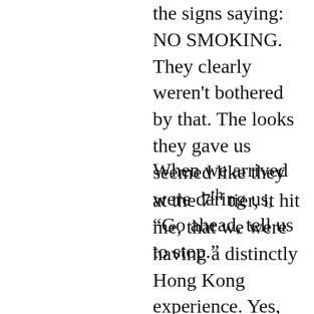the signs saying: NO SMOKING. They clearly weren't bothered by that. The looks they gave us seemed like they were daring us, “Go ahead, tell us to stop.”
When we arrived at the 7th tier, it hit me, that we were having a distinctly Hong Kong experience. Yes, there were about 10,000 reserved VIP seats, but really, as far as your neighbors at this track, all bets were off (pun not intended) — you could sit on the crowded benches literally rubbing elbows with a CEO on